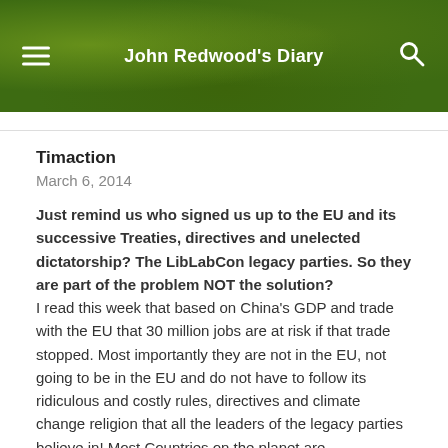John Redwood's Diary
Timaction
March 6, 2014
Just remind us who signed us up to the EU and its successive Treaties, directives and unelected dictatorship? The LibLabCon legacy parties. So they are part of the problem NOT the solution?
I read this week that based on China's GDP and trade with the EU that 30 million jobs are at risk if that trade stopped. Most importantly they are not in the EU, not going to be in the EU and do not have to follow its ridiculous and costly rules, directives and climate change religion that all the leaders of the legacy parties believe in! Most Countries on the planet are not in the EU and they get by without copying it or joining it.